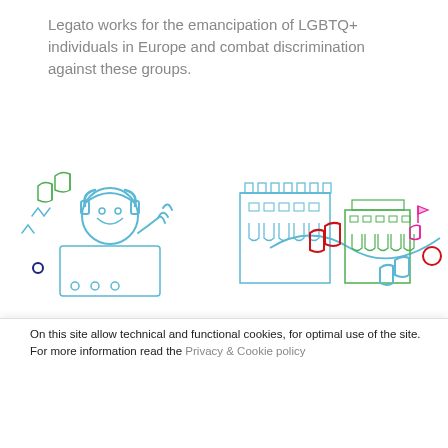Legato works for the emancipation of LGBTQ+ individuals in Europe and combat discrimination against these groups.
[Figure (illustration): Colorful line-art illustration of a person with headphones listening to music, surrounded by musical notes, buildings/concert halls in outline style, and a flowing blue wave with musical notes and a red circle.]
Follow us
On this site allow technical and functional cookies, for optimal use of the site. For more information read the Privacy & Cookie policy
Accept All